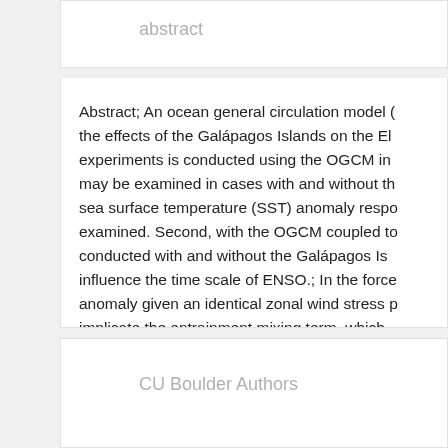abstract
Abstract; An ocean general circulation model (OGCM) is used to examine the effects of the Galápagos Islands on the El Niño–Southern Oscillation (ENSO). A set of experiments is conducted using the OGCM in which the island effects may be examined in cases with and without the Galápagos Islands. First, the sea surface temperature (SST) anomaly response to prescribed wind forcing is examined. Second, with the OGCM coupled to a statistical atmosphere model, runs conducted with and without the Galápagos Islands are used to examine how they influence the time scale of ENSO.; In the forced experiments, the SST anomaly given an identical zonal wind stress perturbation is found to implicate the entrainment mixing term, which is modified by the Galápagos Islands changing the background mean state, consistent with the findings of a previous paper. In the hybrid coupled experiments, the amplitude of the SST anomalies in the eastern equatorial Pacific is reduced, which changes the ENSO time scale from a biennial to a quasi-quadrennial period. Changes in the time scale due to the Galápagos Islands are discussed in the context of the oscillatory nature of ENSO.
CU Boulder Authors